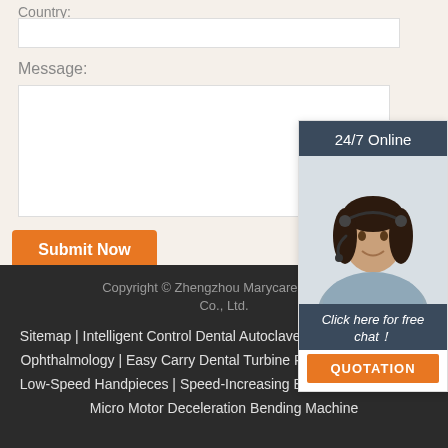Country:
Message:
Submit Now
[Figure (illustration): 24/7 Online chat widget with a photo of a female customer service representative wearing a headset, with a 'Click here for free chat!' label and an orange QUOTATION button. Header reads '24/7 Online'.]
Copyright © Zhengzhou Marycare Medical Co., Ltd.
Sitemap | Intelligent Control Dental Autoclave Manufacturers India Ophthalmology | Easy Carry Dental Turbine Repair Tools Connect Low-Speed Handpieces | Speed-Increasing Bender Schick Dental Micro Motor Deceleration Bending Machine